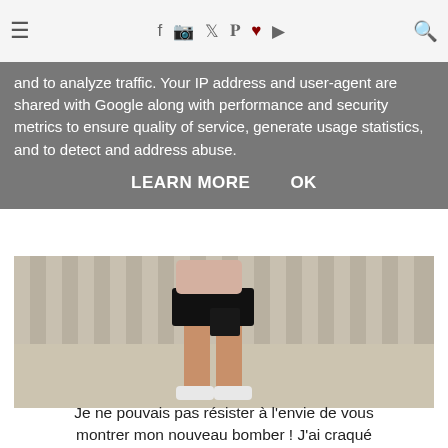≡  f  Instagram  Twitter  Pinterest  ♥  YouTube  🔍
and to analyze traffic. Your IP address and user-agent are shared with Google along with performance and security metrics to ensure quality of service, generate usage statistics, and to detect and address abuse.
LEARN MORE    OK
[Figure (photo): Photo of a person wearing a black leather mini skirt, pink jacket, and white sneakers, standing in front of a grey slatted fence/wall on a gravel ground.]
Je ne pouvais pas résister à l'envie de vous montrer mon nouveau bomber ! J'ai craqué